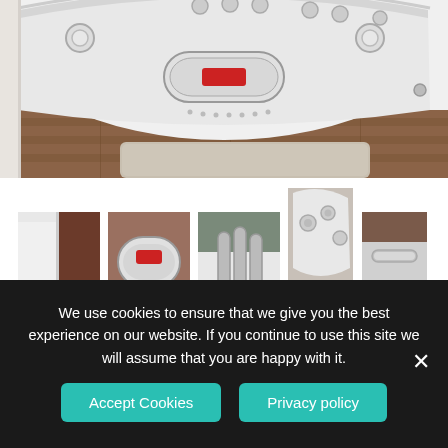[Figure (photo): Main large photo of a white corner whirlpool bathtub with jets, oval control panel with red display, chrome fittings, wood floor and beige bath mat visible]
[Figure (photo): Thumbnail 1: Close-up of white bathtub edge detail on brown/dark background]
[Figure (photo): Thumbnail 2: Close-up of oval control panel with red display on the bathtub]
[Figure (photo): Thumbnail 3: Close-up of chrome faucet/shower fittings on the bathtub with yellow sponge]
[Figure (photo): Thumbnail 4: Corner view of bathtub jets and controls, taller frame]
[Figure (photo): Thumbnail 5: Close-up of chrome handle/grab bar on the bathtub]
[Figure (photo): Thumbnail row 2, image 1: Side view of bathtub with dark headrest]
[Figure (photo): Thumbnail row 2, image 2: Chrome drain/plug components on white background]
[Figure (photo): Thumbnail row 2, image 3: Overhead/interior view of bathtub showing jets]
We use cookies to ensure that we give you the best experience on our website. If you continue to use this site we will assume that you are happy with it.